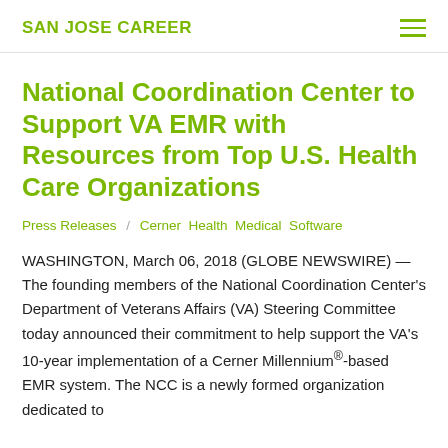SAN JOSE CAREER
National Coordination Center to Support VA EMR with Resources from Top U.S. Health Care Organizations
Press Releases / Cerner Health Medical Software
WASHINGTON, March 06, 2018 (GLOBE NEWSWIRE) — The founding members of the National Coordination Center's Department of Veterans Affairs (VA) Steering Committee today announced their commitment to help support the VA's 10-year implementation of a Cerner Millennium®-based EMR system. The NCC is a newly formed organization dedicated to